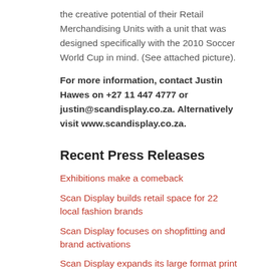the creative potential of their Retail Merchandising Units with a unit that was designed specifically with the 2010 Soccer World Cup in mind. (See attached picture).
For more information, contact Justin Hawes on +27 11 447 4777 or justin@scandisplay.co.za. Alternatively visit www.scandisplay.co.za.
Recent Press Releases
Exhibitions make a comeback
Scan Display builds retail space for 22 local fashion brands
Scan Display focuses on shopfitting and brand activations
Scan Display expands its large format print offering
Scan Display can build vaccination centres at scale